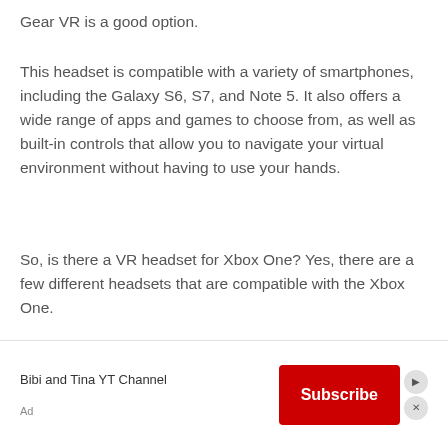Gear VR is a good option.
This headset is compatible with a variety of smartphones, including the Galaxy S6, S7, and Note 5. It also offers a wide range of apps and games to choose from, as well as built-in controls that allow you to navigate your virtual environment without having to use your hands.
So, is there a VR headset for Xbox One? Yes, there are a few different headsets that are compatible with the Xbox One.
Each of these headsets has its own unique features and
[Figure (other): Advertisement banner for Bibi and Tina YT Channel with a red Subscribe button and ad label]